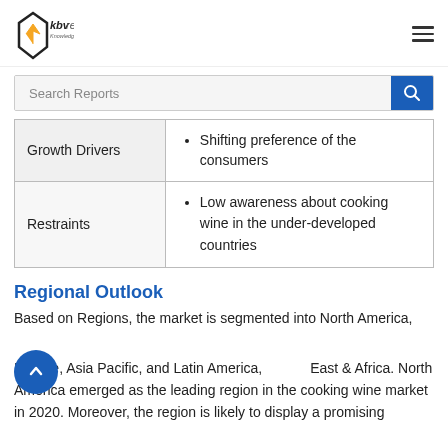KBV Research - Knowledge Based Value
| Category | Details |
| --- | --- |
| Growth Drivers | Shifting preference of the consumers |
| Restraints | Low awareness about cooking wine in the under-developed countries |
Regional Outlook
Based on Regions, the market is segmented into North America, Europe, Asia Pacific, and Latin America, Middle East & Africa. North America emerged as the leading region in the cooking wine market in 2020. Moreover, the region is likely to display a promising